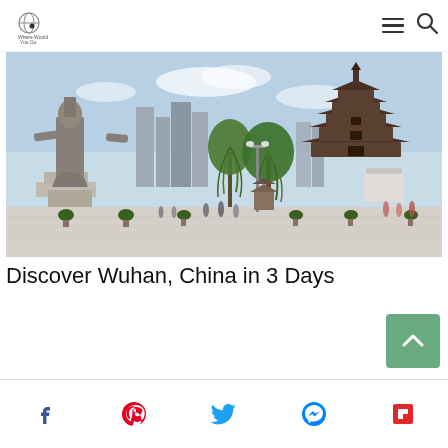Where Would You Go — navigation bar with hamburger menu and search icon
[Figure (photo): Photograph of Wuhan, China showing a large Buddhist statue on the left, a traditional multi-tiered Chinese pagoda on the right, willow trees in the background, modern skyscrapers, and tourists walking in a plaza.]
Discover Wuhan, China in 3 Days
Social share icons: Facebook, Pinterest, Twitter, Messenger, Flipboard